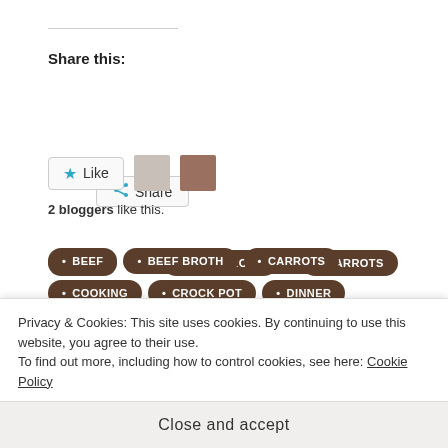Share this:
Share (button)
Like (button) — 2 bloggers like this.
BEEF
BEEF BROTH
CARROTS
COOKING
CROCK POT
DINNER
LEFTOVERS
LUNCH
MEATLOAF
MUSHROOMS
ONIONS
PEAS
PORK
POTATOES
RECIPE
SHEPHERDS PIE
Privacy & Cookies: This site uses cookies. By continuing to use this website, you agree to their use.
To find out more, including how to control cookies, see here: Cookie Policy
Close and accept